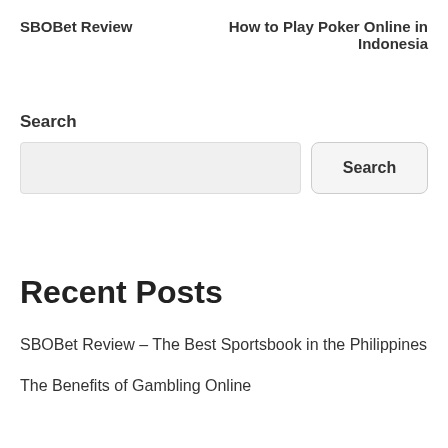SBOBet Review
How to Play Poker Online in Indonesia
Search
Recent Posts
SBOBet Review – The Best Sportsbook in the Philippines
The Benefits of Gambling Online